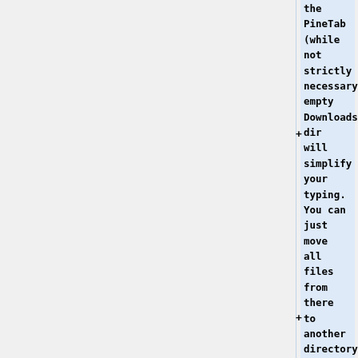the PineTab (while not strictly necessary, empty Downloads dir will simplify your typing. You can just move all files from there to another directory).
* Turn off Sleep when idle in the settings. Settings > Battery > Sleep...